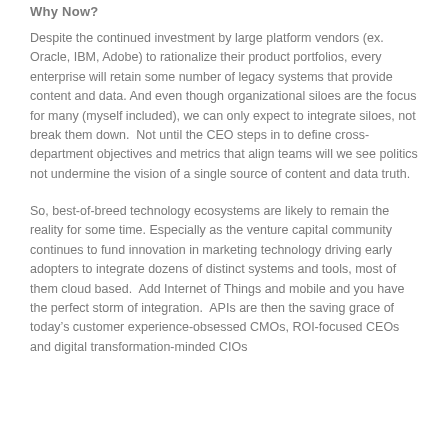Why Now?
Despite the continued investment by large platform vendors (ex. Oracle, IBM, Adobe) to rationalize their product portfolios, every enterprise will retain some number of legacy systems that provide content and data. And even though organizational siloes are the focus for many (myself included), we can only expect to integrate siloes, not break them down.  Not until the CEO steps in to define cross-department objectives and metrics that align teams will we see politics not undermine the vision of a single source of content and data truth.
So, best-of-breed technology ecosystems are likely to remain the reality for some time. Especially as the venture capital community continues to fund innovation in marketing technology driving early adopters to integrate dozens of distinct systems and tools, most of them cloud based.  Add Internet of Things and mobile and you have the perfect storm of integration.  APIs are then the saving grace of today’s customer experience-obsessed CMOs, ROI-focused CEOs and digital transformation-minded CIOs